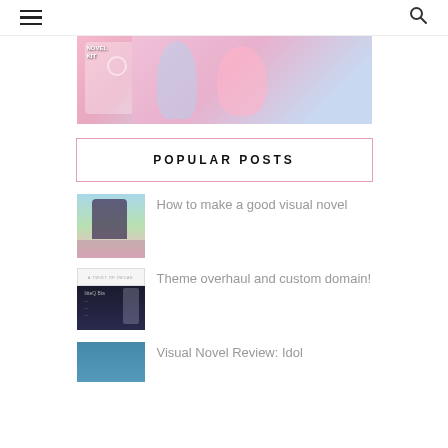Navigation menu and search icon
[Figure (illustration): Anime-style banner image with pink-haired and blue-haired characters in school uniforms. Text overlay reads NOVEL KIT.]
POPULAR POSTS
[Figure (illustration): Thumbnail for 'How to make a good visual novel' post showing anime male character outdoors.]
How to make a good visual novel
[Figure (illustration): Thumbnail for 'Theme overhaul and custom domain!' post showing a dark game screenshot with character silhouette.]
Theme overhaul and custom domain!
[Figure (illustration): Thumbnail for 'Visual Novel Review: Idol...' post, partially visible.]
Visual Novel Review: Idol